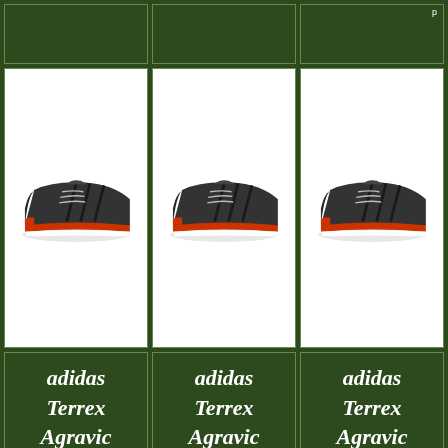[Figure (photo): Adidas Terrex Agravic XT GTX running shoe, dark grey with orange sole, viewed from the side - left column top placeholder]
[Figure (photo): Adidas Terrex Agravic XT GTX running shoe, dark grey with orange sole, viewed from the side - center column top placeholder]
[Figure (photo): Adidas Terrex Agravic XT GTX running shoe, dark grey with orange sole, viewed from the side - right column top placeholder]
[Figure (photo): Adidas Terrex Agravic XT GTX running shoe product image, left column]
[Figure (photo): Adidas Terrex Agravic XT GTX running shoe product image, center column]
[Figure (photo): Adidas Terrex Agravic XT GTX running shoe product image, right column]
adidas Terrex Agravic XTGTX Running Shoes -
adidas Terrex Agravic XTGTX Running Shoes -
adidas Terrex Agravic XTGTX Running Shoes -